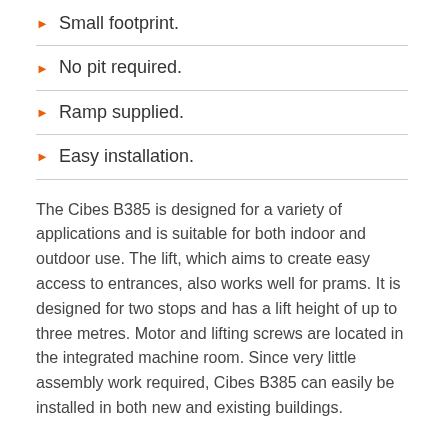Small footprint.
No pit required.
Ramp supplied.
Easy installation.
The Cibes B385 is designed for a variety of applications and is suitable for both indoor and outdoor use. The lift, which aims to create easy access to entrances, also works well for prams. It is designed for two stops and has a lift height of up to three metres. Motor and lifting screws are located in the integrated machine room. Since very little assembly work required, Cibes B385 can easily be installed in both new and existing buildings.